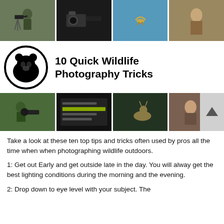[Figure (photo): Strip of four photo thumbnails at the top: person with camera on tripod, hands holding camera with telephoto lens, bird in flight against blue sky, person in forest.]
[Figure (logo): Black bear face inside a black circle — logo for wildlife photography brand.]
10 Quick Wildlife Photography Tricks
[Figure (photo): Strip of four video thumbnails at the bottom: photographer in field, camera ISO sensitivity menu screen, deer/animal in field, person portrait.]
Take a look at these ten top tips and tricks often used by pros all the time when when photographing wildlife outdoors.
1: Get out Early and get outside late in the day. You will alway get the best lighting conditions during the morning and the evening.
2: Drop down to eye level with your subject. The